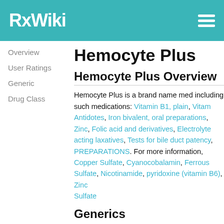RxWiki
Overview
User Ratings
Generic
Drug Class
Hemocyte Plus
Hemocyte Plus Overview
Hemocyte Plus is a brand name medication included in such medication groups as medications: Vitamin B1, plain, Vitamin... Antidotes, Iron bivalent, oral preparations, Zinc, Folic acid and derivatives, Electrolyte acting laxatives, Tests for bile duct patency, PREPARATIONS. For more information... Copper Sulfate, Cyanocobalamin, Ferrous Sulfate, Nicotinamide, pyridoxine (vitamin B6), Zinc Sulfate
Generics